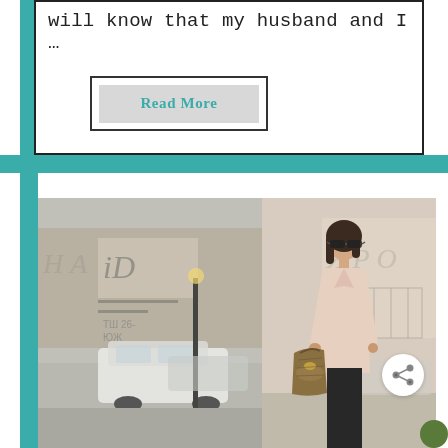will know that my husband and I …
Read More
[Figure (photo): Two-panel photo: left panel shows a street scene with storefronts and a parked white car; right panel shows a woman in a light pink coat and sunglasses holding a patterned handbag, standing on a street.]